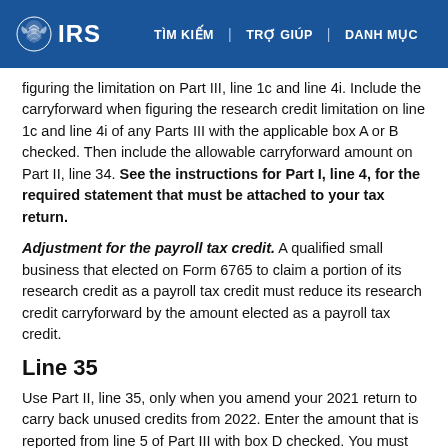IRS | TÌM KIẾM | TRỢ GIÚP | DANH MỤC
figuring the limitation on Part III, line 1c and line 4i. Include the carryforward when figuring the research credit limitation on line 1c and line 4i of any Parts III with the applicable box A or B checked. Then include the allowable carryforward amount on Part II, line 34. See the instructions for Part I, line 4, for the required statement that must be attached to your tax return.
Adjustment for the payroll tax credit. A qualified small business that elected on Form 6765 to claim a portion of its research credit as a payroll tax credit must reduce its research credit carryforward by the amount elected as a payroll tax credit.
Line 35
Use Part II, line 35, only when you amend your 2021 return to carry back unused credits from 2022. Enter the amount that is reported from line 5 of Part III with box D checked. You must attach a benefit credit to be line 508...